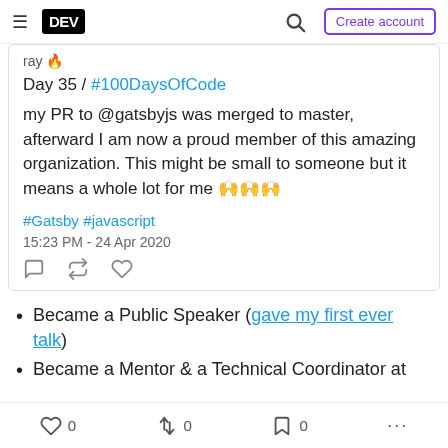DEV — Create account
ray 🔥
Day 35 / #100DaysOfCode
my PR to @gatsbyjs was merged to master, afterward I am now a proud member of this amazing organization. This might be small to someone but it means a whole lot for me 🙌🙌🙌
#Gatsby #javascript
15:23 PM - 24 Apr 2020
Became a Public Speaker (gave my first ever talk)
Became a Mentor & a Technical Coordinator at
0  0  0  ...